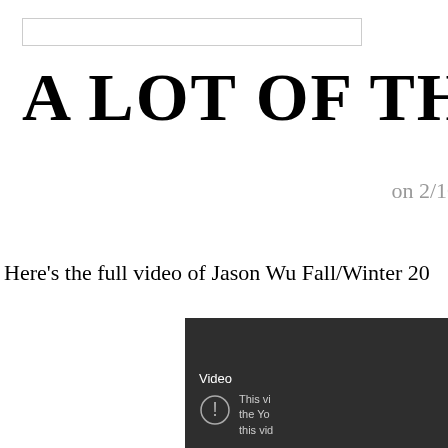[Figure (other): Search bar input field]
A LOT OF THING'S C
on 2/10
Here's the full video of Jason Wu Fall/Winter 20
[Figure (screenshot): Embedded YouTube video player showing unavailable video message: 'Video unavailable. This vi... the Yo... this vid...']